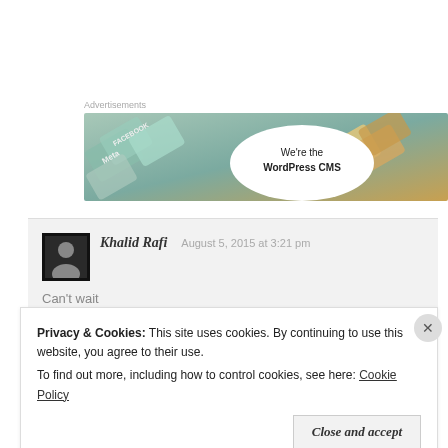Advertisements
[Figure (illustration): Advertisement banner showing colorful overlapping cards/tiles with text 'We're the WordPress CMS' on a white circle, with Meta, Facebook and other brand names visible]
Khalid Rafi   August 5, 2015 at 3:21 pm
Can't wait
Privacy & Cookies:  This site uses cookies. By continuing to use this website, you agree to their use.
To find out more, including how to control cookies, see here: Cookie Policy
Close and accept